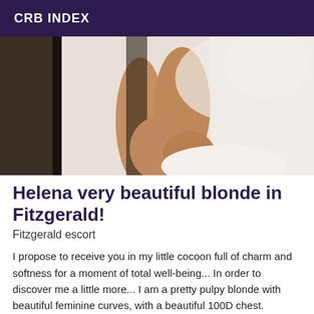CRB INDEX
[Figure (photo): A photo showing the lower body of a person wearing sheer/white clothing, posed in front of a white and dark background.]
Helena very beautiful blonde in Fitzgerald!
Fitzgerald escort
I propose to receive you in my little cocoon full of charm and softness for a moment of total well-being... In order to discover me a little more... I am a pretty pulpy blonde with beautiful feminine curves, with a beautiful 100D chest. Elegant and refined, I appreciate the beautiful fine lingerie... Sexy and naughty, I like massages and